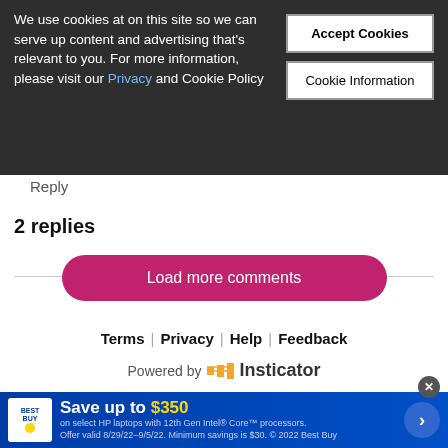We use cookies at on this site so we can serve up content and advertising that's relevant to you. For more information, please visit our Privacy and Cookie Policy
...ow when you marry your granddaughter now even in the grave, you are gonna be rolling in financial stress.
Reply
2 replies
Load more comments
Terms | Privacy | Help | Feedback
Powered by == Insticator
[Figure (other): Colorful advertisement banner with red/yellow gradient]
Nike. Just Do It – Inspiring the world's athletes, Nike delivers the deals
Best Buy – Save up to $350 on select HP laptops with 12th Gen Intel® Core™ processors. Offer valid 8/29/22–9/5/22. Minimum savings is $30. © 2022 Best Buy